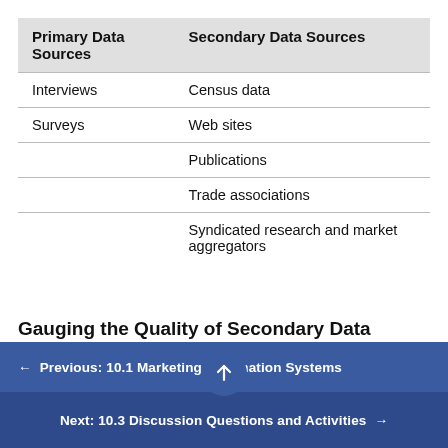| Primary Data Sources | Secondary Data Sources |
| --- | --- |
| Interviews | Census data |
| Surveys | Web sites |
|  | Publications |
|  | Trade associations |
|  | Syndicated research and market aggregators |
Gauging the Quality of Secondary Data
When you are gathering secondary information, it's
Previous: 10.1 Marketing Information Systems
Next: 10.3 Discussion Questions and Activities